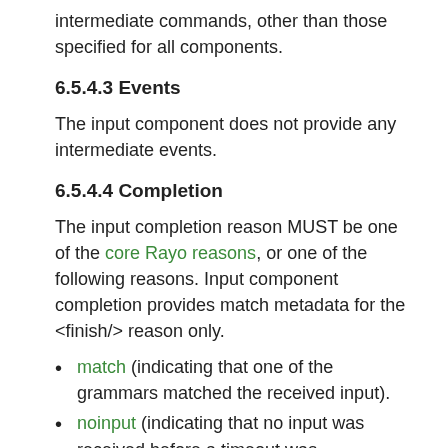intermediate commands, other than those specified for all components.
6.5.4.3 Events
The input component does not provide any intermediate events.
6.5.4.4 Completion
The input completion reason MUST be one of the core Rayo reasons, or one of the following reasons. Input component completion provides match metadata for the <finish/> reason only.
match (indicating that one of the grammars matched the received input).
noinput (indicating that no input was received before a timeout was encountered).